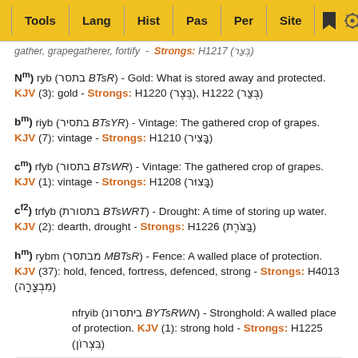Tools | Lang | Hist | Pas | Per | Site
gather, grapegatherer, fortify - Strongs: H1217 (בְּצַר)
Nm) ryb (בתסר BTsR) - Gold: What is stored away and protected. KJV (3): gold - Strongs: H1220 (בֶּצֶר), H1222 (בְּצַר)
bm) riyb (בתסיר BTsYR) - Vintage: The gathered crop of grapes. KJV (7): vintage - Strongs: H1210 (בָּצִיר)
cm) rfyb (בתסור BTsWR) - Vintage: The gathered crop of grapes. KJV (1): vintage - Strongs: H1208 (בָּצוּר)
cf2) trfyb (בתסורת BTsWRT) - Drought: A time of storing up water. KJV (2): dearth, drought - Strongs: H1226 (בַּצֹּרֶת)
hm) rybm (מבתסר MBTsR) - Fence: A walled place of protection. KJV (37): hold, fenced, fortress, defenced, strong - Strongs: H4013 (מִבְצָרָה)
nfryib (ביתסרונ BYTsRWN) - Stronghold: A walled place of protection. KJV (1): strong hold - Strongs: H1225 (בִּצְרוֹן)